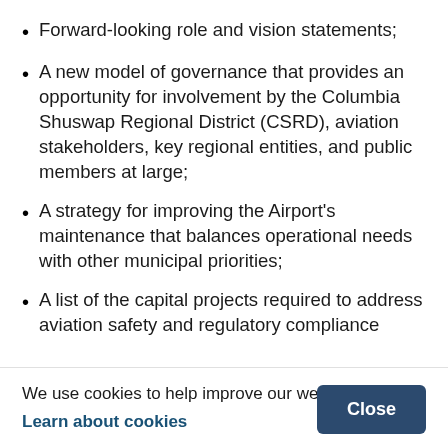Forward-looking role and vision statements;
A new model of governance that provides an opportunity for involvement by the Columbia Shuswap Regional District (CSRD), aviation stakeholders, key regional entities, and public members at large;
A strategy for improving the Airport's maintenance that balances operational needs with other municipal priorities;
A list of the capital projects required to address aviation safety and regulatory compliance matters;
We use cookies to help improve our website for you.
Learn about cookies
Close